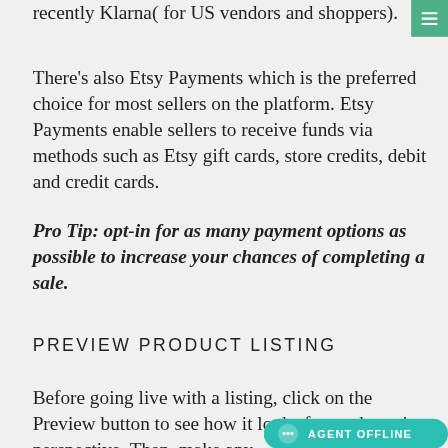recently Klarna( for US vendors and shoppers).
[Figure (other): Green hamburger menu button with three white horizontal lines]
There's also Etsy Payments which is the preferred choice for most sellers on the platform. Etsy Payments enable sellers to receive funds via methods such as Etsy gift cards, store credits, debit and credit cards.
Pro Tip: opt-in for as many payment options as possible to increase your chances of completing a sale.
PREVIEW PRODUCT LISTING
Before going live with a listing, click on the Preview button to see how it looks from a buyer's perspective. Then, make any
[Figure (other): Teal AGENT OFFLINE chat button with speech bubble icon]